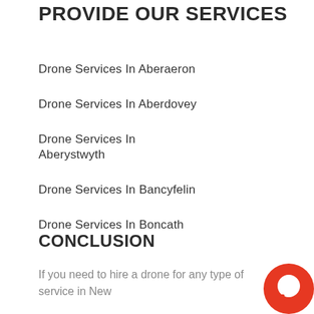PROVIDE OUR SERVICES
Drone Services In Aberaeron
Drone Services In Aberdovey
Drone Services In Aberystwyth
Drone Services In Bancyfelin
Drone Services In Boncath
CONCLUSION
If you need to hire a drone for any type of service in New